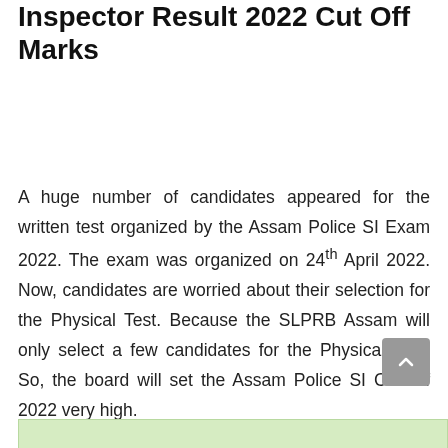Inspector Result 2022 Cut Off Marks
A huge number of candidates appeared for the written test organized by the Assam Police SI Exam 2022. The exam was organized on 24th April 2022. Now, candidates are worried about their selection for the Physical Test. Because the SLPRB Assam will only select a few candidates for the Physical Test. So, the board will set the Assam Police SI Cut-Off 2022 very high.